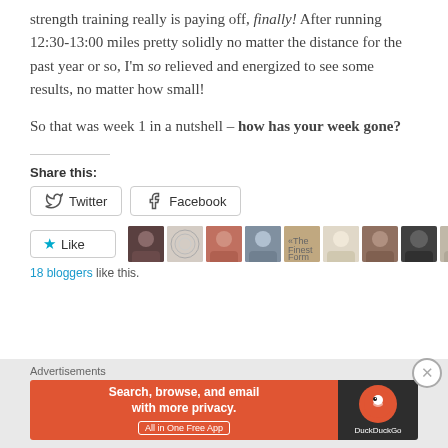strength training really is paying off, finally! After running 12:30-13:00 miles pretty solidly no matter the distance for the past year or so, I'm so relieved and energized to see some results, no matter how small!
So that was week 1 in a nutshell – how has your week gone?
Share this:
[Figure (screenshot): Twitter and Facebook share buttons]
[Figure (screenshot): Like button with 18 blogger avatars]
18 bloggers like this.
Advertisements
[Figure (screenshot): DuckDuckGo advertisement banner: Search, browse, and email with more privacy. All in One Free App.]